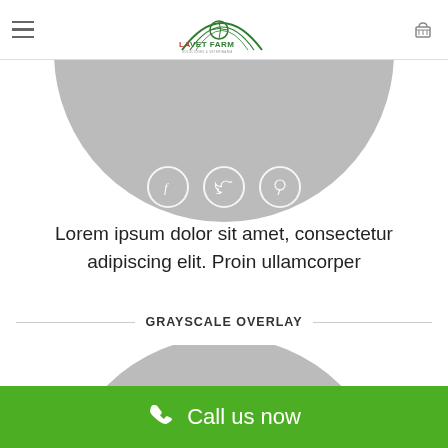LA VET FARM
[Figure (illustration): Gray semicircle with social media icons (Facebook, Twitter, Pinterest) in outlined circles]
Lorem ipsum dolor sit amet, consectetur adipiscing elit. Proin ullamcorper
GRAYSCALE OVERLAY
[Figure (illustration): Gray semicircle (grayscale overlay section)]
Call us now